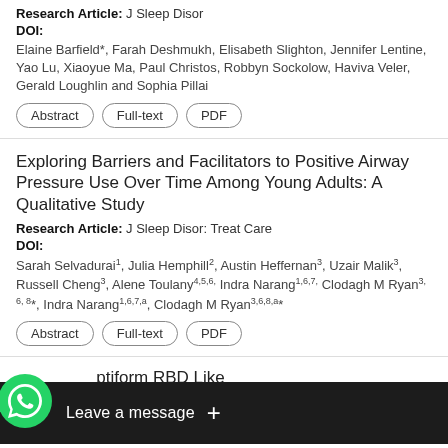Research Article: J Sleep Disor
DOI:
Elaine Barfield*, Farah Deshmukh, Elisabeth Slighton, Jennifer Lentine, Yao Lu, Xiaoyue Ma, Paul Christos, Robbyn Sockolow, Haviva Veler, Gerald Loughlin and Sophia Pillai
Abstract | Full-text | PDF
Exploring Barriers and Facilitators to Positive Airway Pressure Use Over Time Among Young Adults: A Qualitative Study
Research Article: J Sleep Disor: Treat Care
DOI:
Sarah Selvadurai1, Julia Hemphill2, Austin Heffernan3, Uzair Malik3, Russell Cheng3, Alene Toulany4,5,6, Indra Narang1,6,7, Clodagh M Ryan3, 6, 8*, Indra Narang1,6,7,a, Clodagh M Ryan3,6,8,a*
Abstract | Full-text | PDF
...ptiform RBD Like Sym...
[Figure (screenshot): WhatsApp 'Leave a message' chat widget overlay at the bottom of the page]